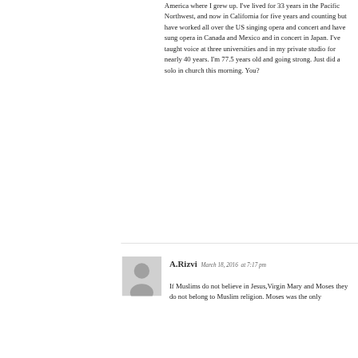America where I grew up. I've lived for 33 years in the Pacific Northwest, and now in California for five years and counting but have worked all over the US singing opera and concert and have sung opera in Canada and Mexico and in concert in Japan. I've taught voice at three universities and in my private studio for nearly 40 years. I'm 77.5 years old and going strong. Just did a solo in church this morning. You?
[Figure (illustration): Gray silhouette avatar icon of a person (default user profile image)]
A.Rizvi  March 18, 2016  at 7:17 pm
If Muslims do not believe in Jesus,Virgin Mary and Moses they do not belong to Muslim religion. Moses was the only